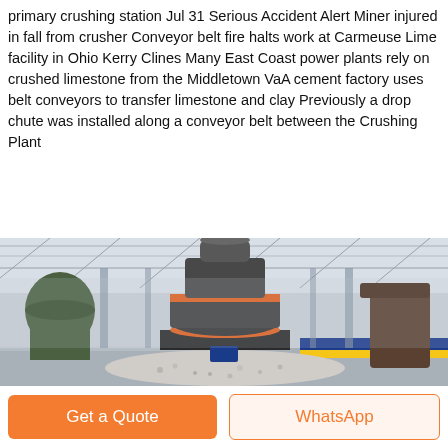primary crushing station Jul 31 Serious Accident Alert Miner injured in fall from crusher Conveyor belt fire halts work at Carmeuse Lime facility in Ohio Kerry Clines Many East Coast power plants rely on crushed limestone from the Middletown VaA cement factory uses belt conveyors to transfer limestone and clay Previously a drop chute was installed along a conveyor belt between the Crushing Plant
[Figure (photo): Industrial crushing facility interior showing a large cone crusher machine in the foreground surrounded by crushed stone/limestone aggregate. The facility has a large warehouse-style roof with steel trusses. Additional industrial equipment visible in the background including milling machines and conveyor components.]
Get a Quote
WhatsApp